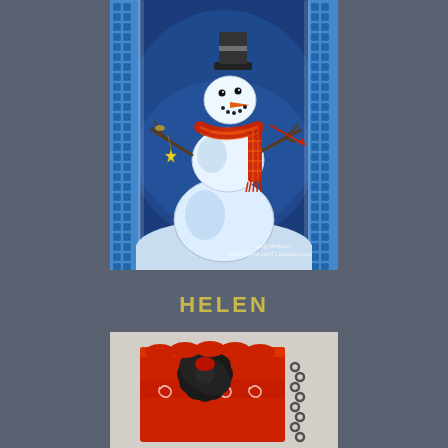[Figure (illustration): Illustrated greeting card showing a snowman with a red plaid scarf, twig arms, carrot nose, and a small yellow star ornament hanging from one arm. Background is blue with white birch tree border panels on sides. Watermark reads 'Lady Brayton www.ladybra yton71.blogspot.com'.]
HELEN
[Figure (photo): Photo of a decorative gift bag or package wrapped in red fabric/paper with a large black flower embellishment and a red ribbon with white swirl patterns. A black and white chain or decorative element hangs to the right.]